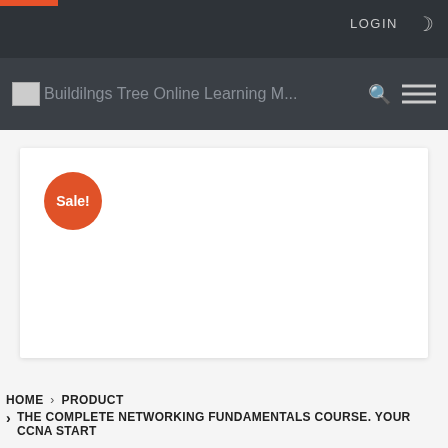LOGIN
[Figure (logo): Website logo image with site title: Buildilngs Tree Online Learning M...]
[Figure (other): Sale! badge - orange circle with white text reading Sale!]
HOME > PRODUCT > THE COMPLETE NETWORKING FUNDAMENTALS COURSE. YOUR CCNA START